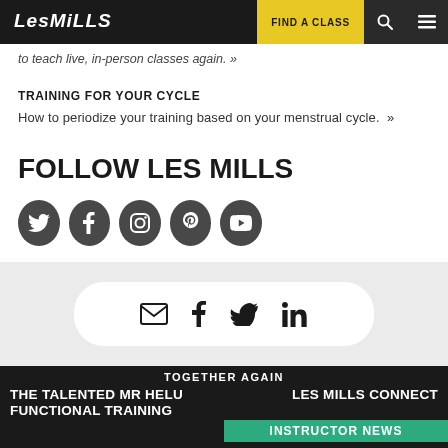Les Mills — FIND A CLASS
to teach live, in-person classes again. »
TRAINING FOR YOUR CYCLE
How to periodize your training based on your menstrual cycle. »
FOLLOW LES MILLS
[Figure (infographic): Five dark circular social media icons: Twitter, Facebook, Instagram, Pinterest, YouTube]
[Figure (infographic): Share buttons pill: email envelope, Facebook f, Twitter bird, LinkedIn in]
TOGETHER AGAIN | THE TALENTED MR HELU FUNCTIONAL TRAINING | LES MILLS CONNECT INSTRUCTOR NEWS | Les Mills logo